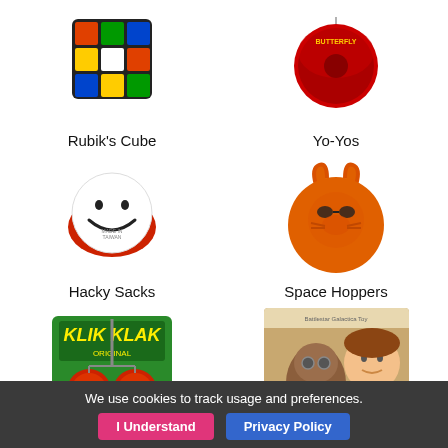[Figure (illustration): Rubik's Cube toy image at top left]
Rubik's Cube
[Figure (illustration): Yo-Yo toy image at top right]
Yo-Yos
[Figure (illustration): Hacky Sack smiley face ball image]
Hacky Sacks
[Figure (illustration): Space Hopper orange bouncy ball with face image]
Space Hoppers
[Figure (illustration): Klik Klak Clackers toy in green packaging with two red balls]
Clackers
[Figure (illustration): Battlestar Galactica toy with child and robot bear]
Battlestar Galactica
[Figure (illustration): Darci Doll toy partially visible]
Darci Doll
[Figure (illustration): Big Trak futuristic vehicle toy partially visible]
Big Trak
We use cookies to track usage and preferences.
I Understand
Privacy Policy